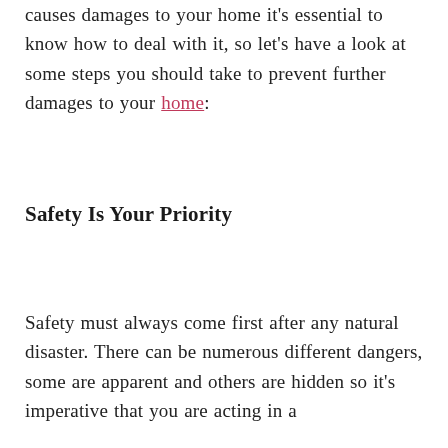causes damages to your home it's essential to know how to deal with it, so let's have a look at some steps you should take to prevent further damages to your home:
Safety Is Your Priority
Safety must always come first after any natural disaster. There can be numerous different dangers, some are apparent and others are hidden so it's imperative that you are acting in a